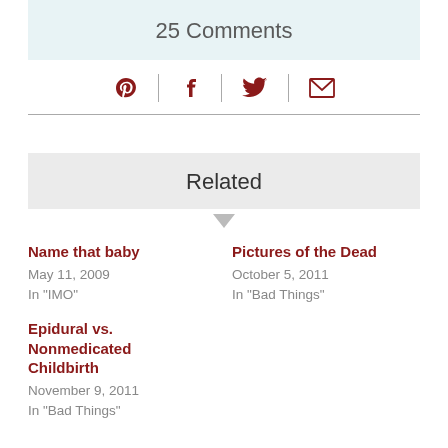25 Comments
[Figure (infographic): Social sharing icons: Pinterest, Facebook, Twitter, Email — separated by vertical dividers, in dark red color]
Related
Name that baby
May 11, 2009
In "IMO"
Pictures of the Dead
October 5, 2011
In "Bad Things"
Epidural vs. Nonmedicated Childbirth
November 9, 2011
In "Bad Things"